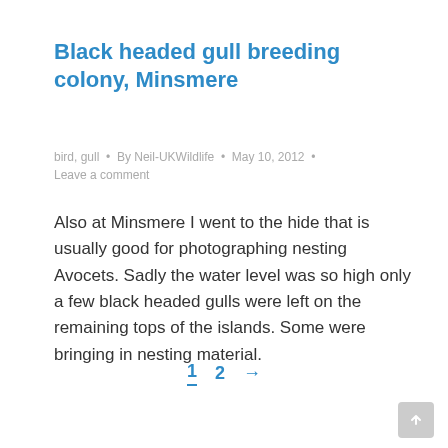Black headed gull breeding colony, Minsmere
bird, gull · By Neil-UKWildlife · May 10, 2012 · Leave a comment
Also at Minsmere I went to the hide that is usually good for photographing nesting Avocets. Sadly the water level was so high only a few black headed gulls were left on the remaining tops of the islands. Some were bringing in nesting material.
1  2  →